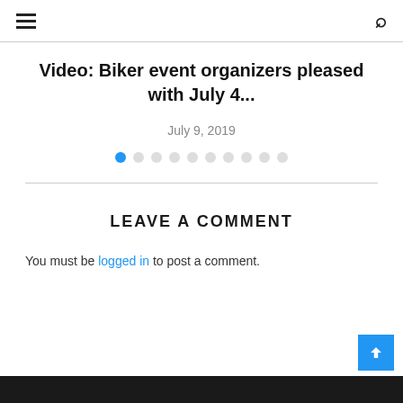Navigation menu and search icon
Video: Biker event organizers pleased with July 4...
July 9, 2019
[Figure (infographic): Pagination dots: 10 circles, first one filled blue, rest empty grey]
LEAVE A COMMENT
You must be logged in to post a comment.